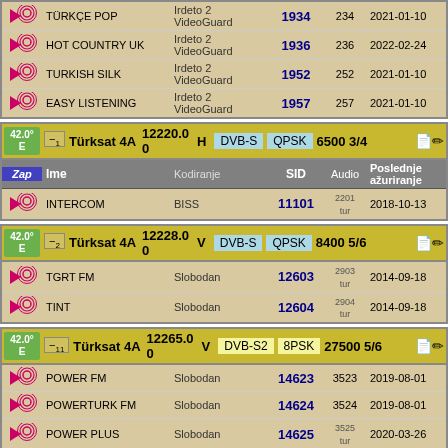|  | Name | Encoding | SID | Audio | Last Updated |
| --- | --- | --- | --- | --- | --- |
| ♪ | TÜRKÇE POP | Irdeto 2 VideoGuard | 1934 | 234 | 2021-01-10 |
| ♪ | HOT COUNTRY UK | Irdeto 2 VideoGuard | 1936 | 236 | 2022-02-24 |
| ♪ | TURKISH SILK | Irdeto 2 VideoGuard | 1952 | 252 | 2021-01-10 |
| ♪ | EASY LISTENING | Irdeto 2 VideoGuard | 1957 | 257 | 2021-01-10 |
| Pos | Satellite | Frequency | Pol | Standard | Modulation | SR/FEC |
| --- | --- | --- | --- | --- | --- | --- |
| 42.0° E | Türksat 4A | 12220.00 | H | DVB-S | QPSK | 6500 3/4 |
| Zap | Ime | Kodiranje | SID | Audio | Poslednje ažuriranje |
| --- | --- | --- | --- | --- | --- |
| ♪ | INTERCOM | BISS | 11101 | 2201 tur | 2018-10-13 |
| Pos | Satellite | Frequency | Pol | Standard | Modulation | SR/FEC |
| --- | --- | --- | --- | --- | --- | --- |
| 42.0° E | Türksat 4A | 12228.00 | V | DVB-S | QPSK | 8400 5/6 |
|  | Name | Encoding | SID | Audio | Last Updated |
| --- | --- | --- | --- | --- | --- |
| ♪ | TGRT FM | Slobodan | 12603 | 2903 tur | 2014-09-18 |
| ♪ | TINT | Slobodan | 12604 | 2904 tur | 2014-09-18 |
| Pos | Satellite | Frequency | Pol | Standard | Modulation | SR/FEC |
| --- | --- | --- | --- | --- | --- | --- |
| 42.0° E | Türksat 4A | 12265.00 | V | DVB-S2 | 8PSK | 27500 5/6 |
|  | Name | Encoding | SID | Audio | Last Updated |
| --- | --- | --- | --- | --- | --- |
| ♪ | POWER FM | Slobodan | 14623 | 3523 | 2019-08-01 |
| ♪ | POWERTURK FM | Slobodan | 14624 | 3524 | 2019-08-01 |
| ♪ | POWER PLUS | Slobodan | 14625 | 3525 tur | 2020-03-26 |
| ♪ | POWER POP | Slobodan | 14626 | 3526 tur | 2019-08-01 |